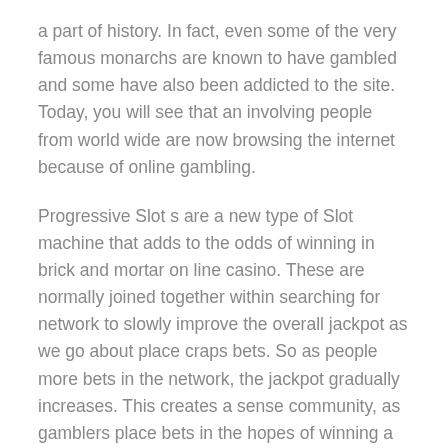a part of history. In fact, even some of the very famous monarchs are known to have gambled and some have also been addicted to the site. Today, you will see that an involving people from world wide are now browsing the internet because of online gambling.
Progressive Slot s are a new type of Slot machine that adds to the odds of winning in brick and mortar on line casino. These are normally joined together within searching for network to slowly improve the overall jackpot as we go about place craps bets. So as people more bets in the network, the jackpot gradually increases. This creates a sense community, as gamblers place bets in the hopes of winning a life-changing amount of greenbacks. These types of games are so widely common and normally function as being main attraction at offline casinos. These commonly look for a group of men and women gambling together in